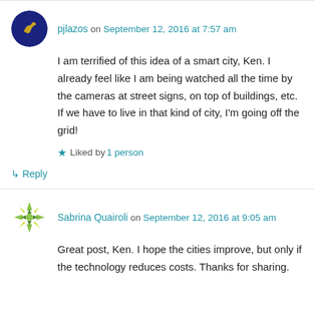pjlazos on September 12, 2016 at 7:57 am
I am terrified of this idea of a smart city, Ken. I already feel like I am being watched all the time by the cameras at street signs, on top of buildings, etc. If we have to live in that kind of city, I'm going off the grid!
Liked by 1 person
↳ Reply
Sabrina Quairoli on September 12, 2016 at 9:05 am
Great post, Ken. I hope the cities improve, but only if the technology reduces costs. Thanks for sharing.